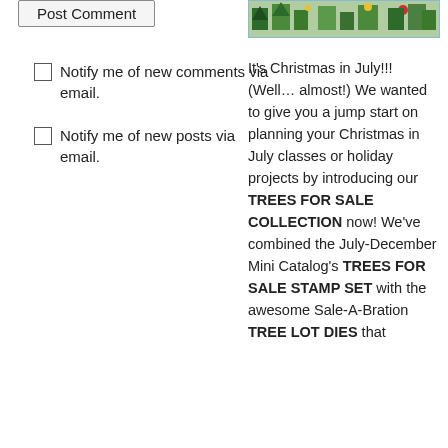Post Comment
Notify me of new comments via email.
Notify me of new posts via email.
[Figure (photo): Christmas/holiday themed stamps or card image]
It's Christmas in July!!!  (Well… almost!)  We wanted to give you a jump start on planning your Christmas in July classes or holiday projects by introducing our TREES FOR SALE COLLECTION now!  We've combined the July-December Mini Catalog's TREES FOR SALE STAMP SET with the awesome Sale-A-Bration TREE LOT DIES that